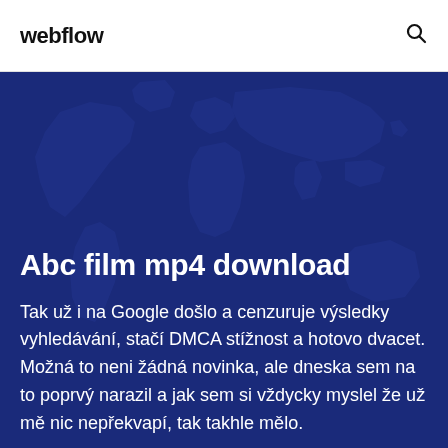webflow
[Figure (illustration): Dark blue world map illustration used as a background image for a webpage hero section]
Abc film mp4 download
Tak už i na Google došlo a cenzuruje výsledky vyhledávání, stačí DMCA stížnost a hotovo dvacet. Možná to neni žádná novinka, ale dneska sem na to poprvý narazil a jak sem si vždycky myslel že už mě nic nepřekvapí, tak takhle mělo.